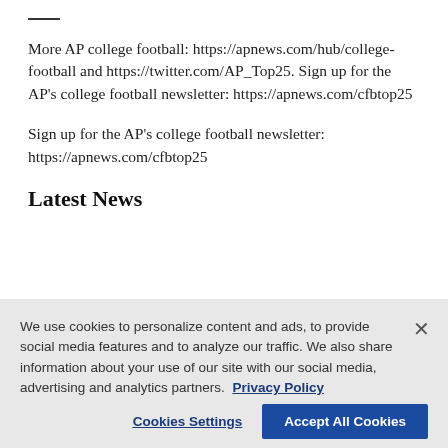More AP college football: https://apnews.com/hub/college-football and https://twitter.com/AP_Top25. Sign up for the AP's college football newsletter: https://apnews.com/cfbtop25
Sign up for the AP's college football newsletter: https://apnews.com/cfbtop25
Latest News
We use cookies to personalize content and ads, to provide social media features and to analyze our traffic. We also share information about your use of our site with our social media, advertising and analytics partners. Privacy Policy
Cookies Settings | Accept All Cookies